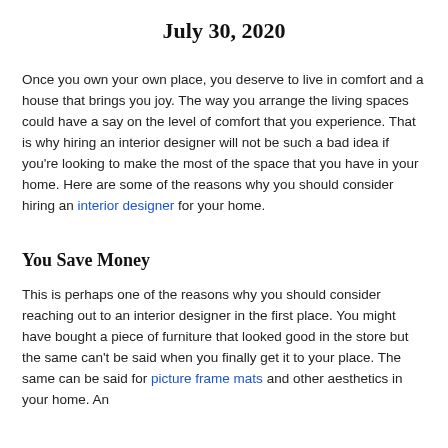July 30, 2020
Once you own your own place, you deserve to live in comfort and a house that brings you joy. The way you arrange the living spaces could have a say on the level of comfort that you experience. That is why hiring an interior designer will not be such a bad idea if you're looking to make the most of the space that you have in your home. Here are some of the reasons why you should consider hiring an interior designer for your home.
You Save Money
This is perhaps one of the reasons why you should consider reaching out to an interior designer in the first place. You might have bought a piece of furniture that looked good in the store but the same can't be said when you finally get it to your place. The same can be said for picture frame mats and other aesthetics in your home. An